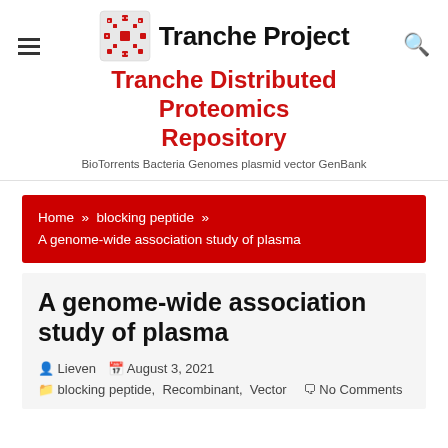Tranche Project — Tranche Distributed Proteomics Repository
BioTorrents Bacteria Genomes plasmid vector GenBank
Home » blocking peptide » A genome-wide association study of plasma
A genome-wide association study of plasma
Lieven  August 3, 2021
blocking peptide,  Recombinant,  Vector    No Comments